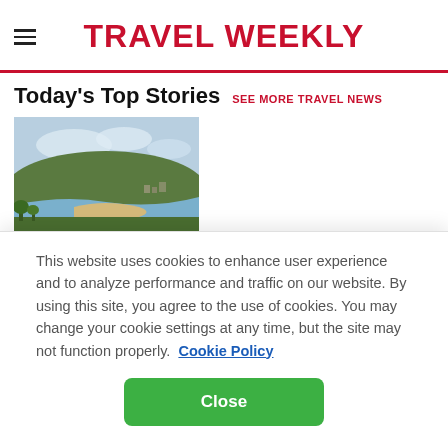TRAVEL WEEKLY
Today's Top Stories  SEE MORE TRAVEL NEWS
[Figure (photo): Aerial view of a river winding through a European landscape with hills and greenery]
Rain in Europe washes away river cruising's low-water worries
This website uses cookies to enhance user experience and to analyze performance and traffic on our website. By using this site, you agree to the use of cookies. You may change your cookie settings at any time, but the site may not function properly.  Cookie Policy